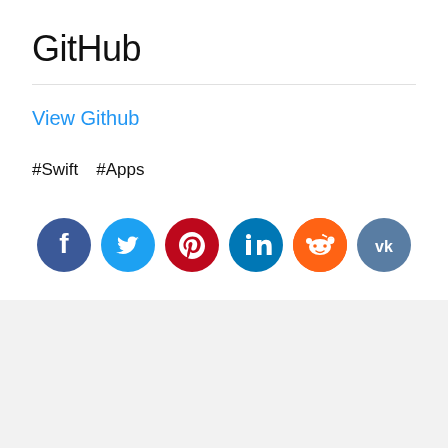GitHub
View Github
#Swift  #Apps
[Figure (infographic): Row of 6 social media icon buttons: Facebook (dark blue), Twitter (light blue), Pinterest (dark red), LinkedIn (teal), Reddit (orange), VK (slate blue)]